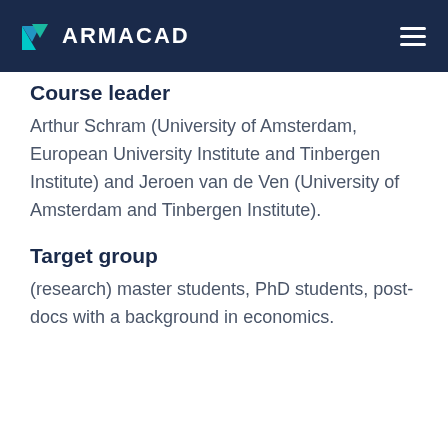ARMACAD
Course leader
Arthur Schram (University of Amsterdam, European University Institute and Tinbergen Institute) and Jeroen van de Ven (University of Amsterdam and Tinbergen Institute).
Target group
(research) master students, PhD students, post-docs with a background in economics.